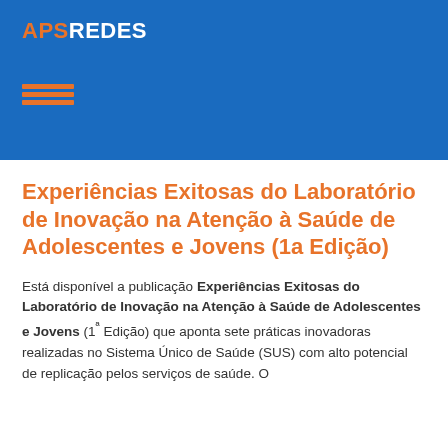APSREDES
[Figure (logo): APS REDES logo with orange APS text and white REDES text on blue background, with small orange horizontal bars below]
Experiências Exitosas do Laboratório de Inovação na Atenção à Saúde de Adolescentes e Jovens (1a Edição)
Está disponível a publicação Experiências Exitosas do Laboratório de Inovação na Atenção à Saúde de Adolescentes e Jovens (1ª Edição) que aponta sete práticas inovadoras realizadas no Sistema Único de Saúde (SUS) com alto potencial de replicação pelos serviços de saúde. O